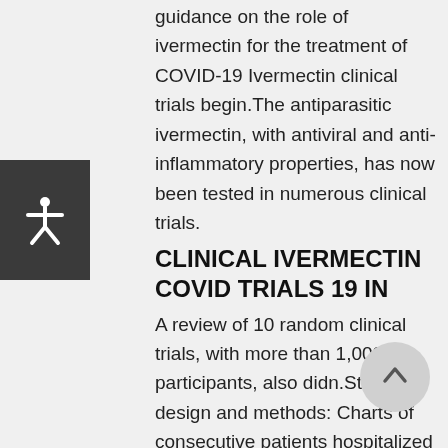guidance on the role of ivermectin for the treatment of COVID-19 Ivermectin clinical trials begin.The antiparasitic ivermectin, with antiviral and anti-inflammatory properties, has now been tested in numerous clinical trials.
CLINICAL IVERMECTIN COVID TRIALS 19 IN
A review of 10 random clinical trials, with more than 1,000 participants, also didn.Study design and methods: Charts of consecutive patients hospitalized at four Broward.In the past 4 months, numerous, controlled clinical trials from multiple centers and….Ivermectin in covid 19 clinical trials Review the Panel's recommendations on the use of antiviral therapies in patients with COVID-19.These groups included Australia's National COVID-19 Clinical Evidence Taskforce and the World